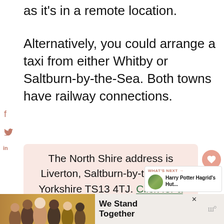as it's in a remote location.
Alternatively, you could arrange a taxi from either Whitby or Saltburn-by-the-Sea. Both towns have railway connections.
The North Shire address is Liverton, Saltburn-by-the-Sea, Yorkshire TS13 4TJ. Click for a Google Pin!
[Figure (screenshot): Advertisement banner: group of people with We Stand Together text and logo]
[Figure (screenshot): What's Next widget showing Harry Potter Hagrid's Hut... with a landscape thumbnail]